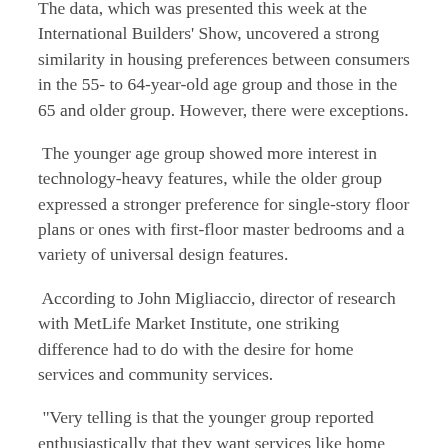The data, which was presented this week at the International Builders' Show, uncovered a strong similarity in housing preferences between consumers in the 55- to 64-year-old age group and those in the 65 and older group. However, there were exceptions.
The younger age group showed more interest in technology-heavy features, while the older group expressed a stronger preference for single-story floor plans or ones with first-floor master bedrooms and a variety of universal design features.
According to John Migliaccio, director of research with MetLife Market Institute, one striking difference had to do with the desire for home services and community services.
“Very telling is that the younger group reported enthusiastically that they want services like home maintenance and repair as part of their next home purchase, along with services typically